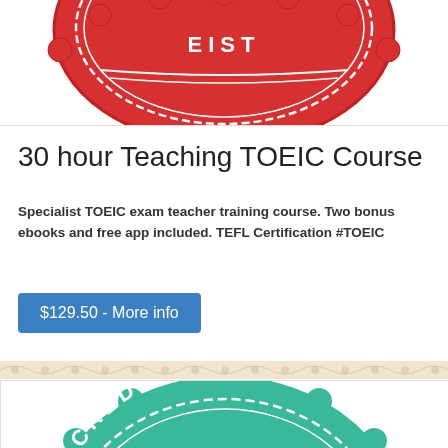[Figure (illustration): Partial red wax seal/stamp badge with white chain/laurel decoration, cropped at top, on white background with thin border]
30 hour Teaching TOEIC Course
Specialist TOEIC exam teacher training course. Two bonus ebooks and free app included. TEFL Certification #TOEIC
$129.50 - More info
[Figure (illustration): Green wax seal/accreditation stamp badge showing the word ACCREDITED in white text arranged in an arc, with number 30 below, stars at bottom, and white laurel/chain decoration, cropped showing top portion]